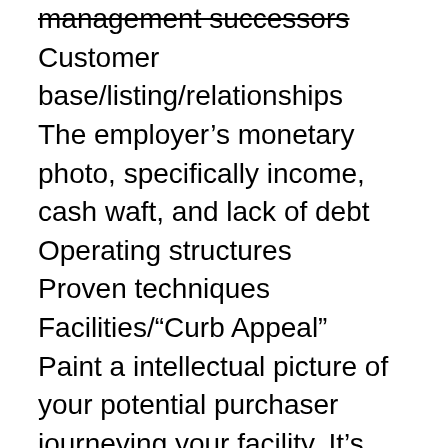management successors
Customer base/listing/relationships
The employer's monetary photo, specifically income, cash waft, and lack of debt
Operating structures
Proven techniques
Facilities/“Curb Appeal”
Paint a intellectual picture of your potential purchaser journeying your facility. It’s easy, properly-lighted and organized. You introduce your knowledgeable, enthusiastic and capable management team, who might in all likelihood come along with the sale. You review your massive and growing purchaser base and speak the tight relationships your organization has cast with key customers. Your records of healthy earnings and cash go with the flow is documented through tax